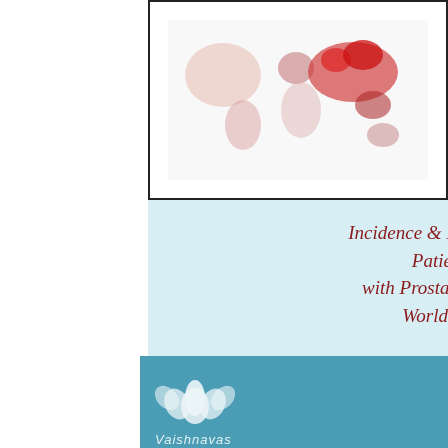[Figure (map): World map showing incidence and mortality of prostate cancer worldwide, with red/pink blobs indicating affected regions]
Incidence & Mortality of Patients with Prostate Cancer Worldwide
[Figure (logo): Vaishnavas C.A.R.E. logo with white lotus flower icon and organization name in white italic text on teal background]
Copyright © 2020 Vaishnavas C. A. R. E.  All Rights Reserved.